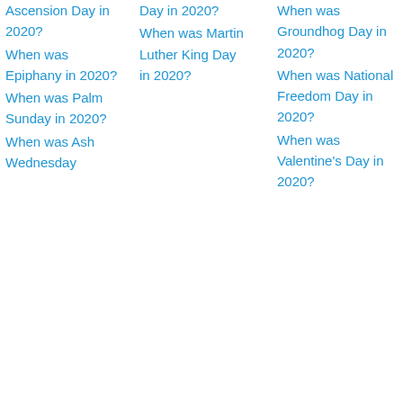Ascension Day in 2020?
When was Epiphany in 2020?
When was Palm Sunday in 2020?
When was Ash Wednesday
Day in 2020?
When was Martin Luther King Day in 2020?
When was Groundhog Day in 2020?
When was National Freedom Day in 2020?
When was Valentine's Day in 2020?